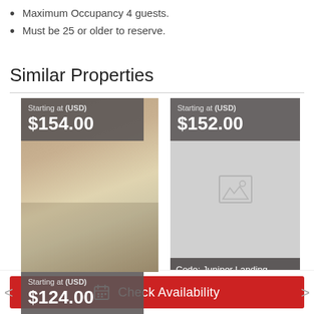Maximum Occupancy 4 guests.
Must be 25 or older to reserve.
Similar Properties
[Figure (photo): Property card for Hygge Haus showing kitchen interior photo with price overlay: Starting at (USD) $154.00]
Code: Hygge Haus
[Figure (photo): Property card for Juniper Landing showing placeholder image with price overlay: Starting at (USD) $152.00]
Code: Juniper Landing
Starting at (USD) $124.00
Check Availability